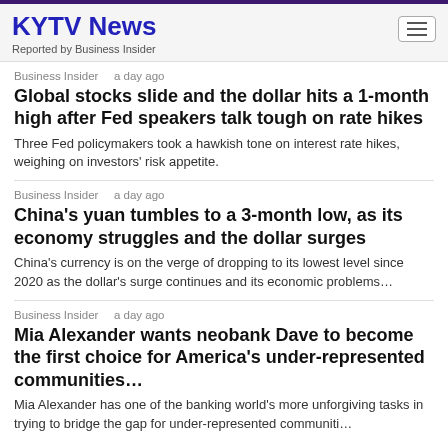KYTV News
Reported by Business Insider
Business Insider   a day ago
Global stocks slide and the dollar hits a 1-month high after Fed speakers talk tough on rate hikes
Three Fed policymakers took a hawkish tone on interest rate hikes, weighing on investors' risk appetite.
Business Insider   a day ago
China's yuan tumbles to a 3-month low, as its economy struggles and the dollar surges
China's currency is on the verge of dropping to its lowest level since 2020 as the dollar's surge continues and its economic problems…
Business Insider   a day ago
Mia Alexander wants neobank Dave to become the first choice for America's under-represented communities…
Mia Alexander has one of the banking world's more unforgiving tasks in trying to bridge the gap for under-represented communiti…